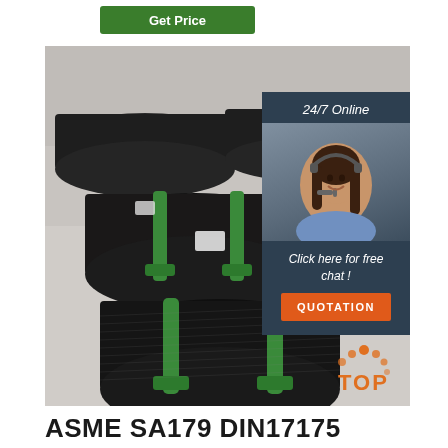Get Price
[Figure (photo): Bundles of black steel wire coils stacked in a warehouse, bound with green plastic straps]
24/7 Online
[Figure (photo): Customer service woman with headset smiling]
Click here for free chat !
QUOTATION
[Figure (logo): TOP logo with orange dots arranged in a semi-circle]
ASME SA179 DIN17175